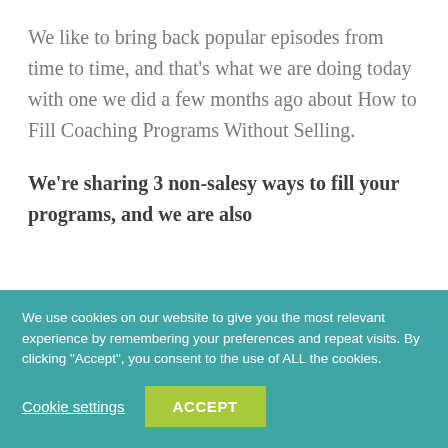We like to bring back popular episodes from time to time, and that's what we are doing today with one we did a few months ago about How to Fill Coaching Programs Without Selling.
We're sharing 3 non-salesy ways to fill your programs, and we are also
We use cookies on our website to give you the most relevant experience by remembering your preferences and repeat visits. By clicking "Accept", you consent to the use of ALL the cookies.
Cookie settings
ACCEPT